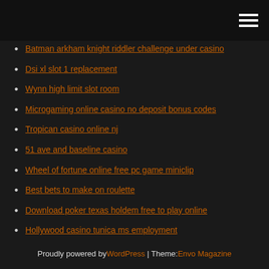Navigation menu
Batman arkham knight riddler challenge under casino
Dsi xl slot 1 replacement
Wynn high limit slot room
Microgaming online casino no deposit bonus codes
Tropican casino online nj
51 ave and baseline casino
Wheel of fortune online free pc game miniclip
Best bets to make on roulette
Download poker texas holdem free to play online
Hollywood casino tunica ms employment
Black chip poker us legal
Proudly powered by WordPress | Theme: Envo Magazine